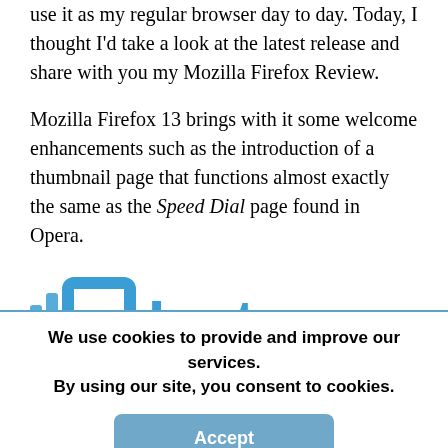use it as my regular browser day to day. Today, I thought I'd take a look at the latest release and share with you my Mozilla Firefox Review.
Mozilla Firefox 13 brings with it some welcome enhancements such as the introduction of a thumbnail page that functions almost exactly the same as the Speed Dial page found in Opera.
[Figure (logo): Instapage logo partially visible, blue icon and blue text reading 'Instapage', cropped at bottom]
We use cookies to provide and improve our services. By using our site, you consent to cookies.
Accept
Learn more